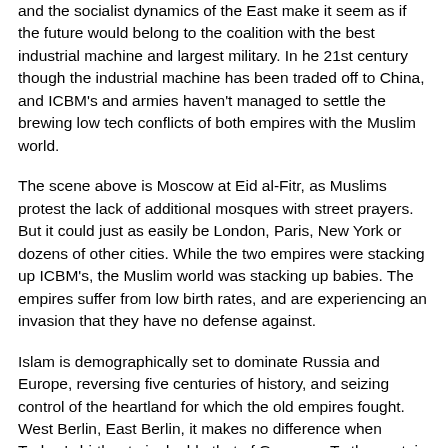and the socialist dynamics of the East make it seem as if the future would belong to the coalition with the best industrial machine and largest military. In he 21st century though the industrial machine has been traded off to China, and ICBM's and armies haven't managed to settle the brewing low tech conflicts of both empires with the Muslim world.
The scene above is Moscow at Eid al-Fitr, as Muslims protest the lack of additional mosques with street prayers. But it could just as easily be London, Paris, New York or dozens of other cities. While the two empires were stacking up ICBM's, the Muslim world was stacking up babies. The empires suffer from low birth rates, and are experiencing an invasion that they have no defense against.
Islam is demographically set to dominate Russia and Europe, reversing five centuries of history, and seizing control of the heartland for which the old empires fought. West Berlin, East Berlin, it makes no difference when Turkey's birth rate is double that of Germany. To the east, in Moscow and to the west in London, the overall picture is the same.